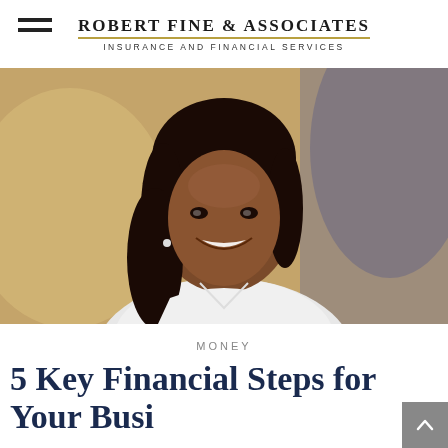[Figure (logo): Robert Fine & Associates — Insurance and Financial Services logo with hamburger menu icon]
[Figure (photo): Professional headshot of a smiling woman in a white blazer, with a warm blurred office background]
MONEY
5 Key Financial Steps for Your Business